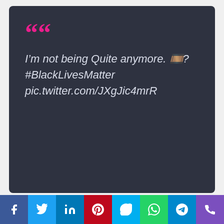““
I’m not being Quite anymore. 🎞️? #BlackLivesMatter pic.twitter.com/JXgJic4mrR
[Figure (other): Social share button bar with icons for Facebook, Twitter, LinkedIn, Pinterest, Skype, WhatsApp, Telegram, and Phone]